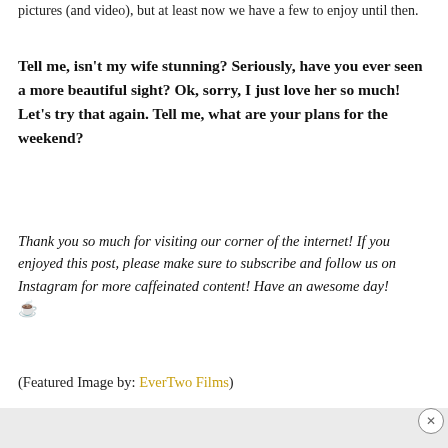pictures (and video), but at least now we have a few to enjoy until then.
Tell me, isn't my wife stunning? Seriously, have you ever seen a more beautiful sight? Ok, sorry, I just love her so much! Let's try that again. Tell me, what are your plans for the weekend?
Thank you so much for visiting our corner of the internet! If you enjoyed this post, please make sure to subscribe and follow us on Instagram for more caffeinated content! Have an awesome day! ☕
(Featured Image by: EverTwo Films)
[Figure (screenshot): DuckDuckGo advertisement banner: orange background with text 'Search, browse, and email with more privacy. All in One Free App' and an image of a smartphone with the DuckDuckGo logo]